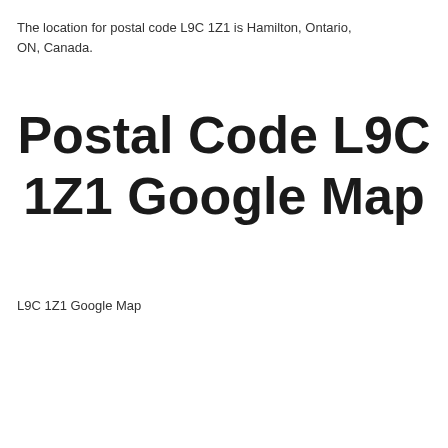The location for postal code L9C 1Z1 is Hamilton, Ontario, ON, Canada.
Postal Code L9C 1Z1 Google Map
L9C 1Z1 Google Map